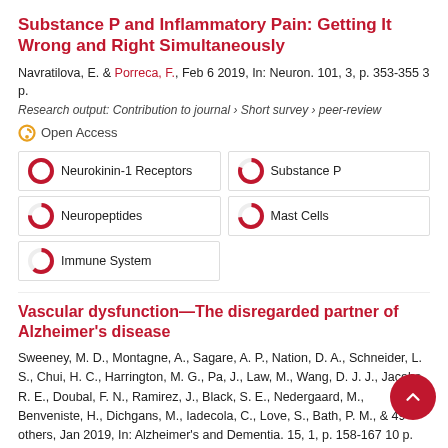Substance P and Inflammatory Pain: Getting It Wrong and Right Simultaneously
Navratilova, E. & Porreca, F., Feb 6 2019, In: Neuron. 101, 3, p. 353-355 3 p.
Research output: Contribution to journal › Short survey › peer-review
Open Access
Neurokinin-1 Receptors
Substance P
Neuropeptides
Mast Cells
Immune System
Vascular dysfunction—The disregarded partner of Alzheimer's disease
Sweeney, M. D., Montagne, A., Sagare, A. P., Nation, D. A., Schneider, L. S., Chui, H. C., Harrington, M. G., Pa, J., Law, M., Wang, D. J. J., Jacobs, R. E., Doubal, F. N., Ramirez, J., Black, S. E., Nedergaard, M., Benveniste, H., Dichgans, M., Iadecola, C., Love, S., Bath, P. M., & 49 others, Jan 2019, In: Alzheimer's and Dementia. 15, 1, p. 158-167 10 p.